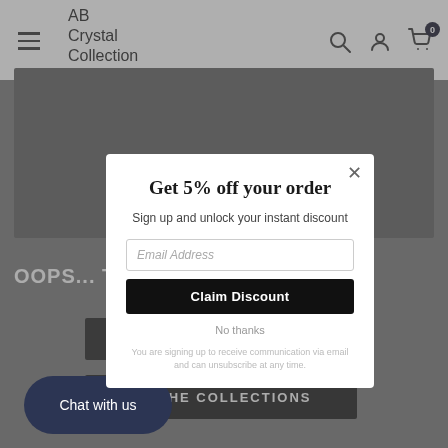AB Crystal Collection
[Figure (screenshot): Gray image placeholder area for website product/banner image]
OOPS... T... CLOCKED
Chat with us
[Figure (screenshot): Discount popup modal with title 'Get 5% off your order', subtitle 'Sign up and unlock your instant discount', email input field, Claim Discount button, No thanks link, and fine print about email communication.]
Get 5% off your order
Sign up and unlock your instant discount
Email Address
Claim Discount
No thanks
You are signing up to receive communication via email and can unsubscribe at any time.